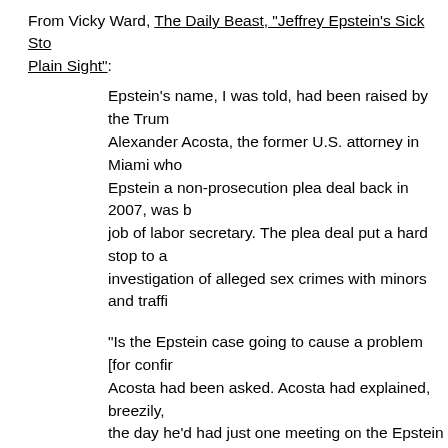From Vicky Ward, The Daily Beast, "Jeffrey Epstein's Sick Story Played Out in Plain Sight":
Epstein's name, I was told, had been raised by the Trump transition. Alexander Acosta, the former U.S. attorney in Miami who'd handed Epstein a non-prosecution plea deal back in 2007, was being offered the job of labor secretary. The plea deal put a hard stop to a federal investigation of alleged sex crimes with minors and traffi...
"Is the Epstein case going to cause a problem [for confir... Acosta had been asked. Acosta had explained, breezily, that back in the day he'd had just one meeting on the Epstein case. He'd cut the prosecution deal with one of Epstein's attorneys because he'd been told to back off, that Epstein was above his pay grade. "I was told Epstein 'belonged to intelligence' and to leave it alone," he told his interviewer from the Trump transition, who evidently thought that was a sufficient answer and hired Acosta. (The Labor Department had no comm... this.)